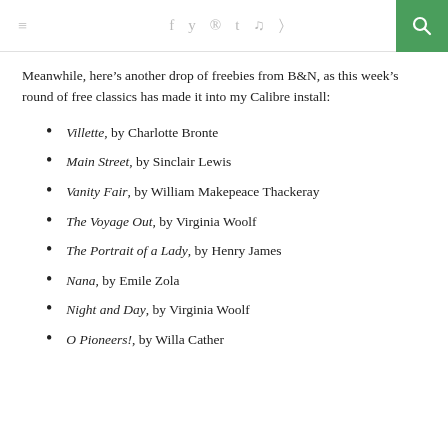≡   f  y  ®  t  ⬥  )))   🔍
Meanwhile, here's another drop of freebies from B&N, as this week's round of free classics has made it into my Calibre install:
Villette, by Charlotte Bronte
Main Street, by Sinclair Lewis
Vanity Fair, by William Makepeace Thackeray
The Voyage Out, by Virginia Woolf
The Portrait of a Lady, by Henry James
Nana, by Emile Zola
Night and Day, by Virginia Woolf
O Pioneers!, by Willa Cather